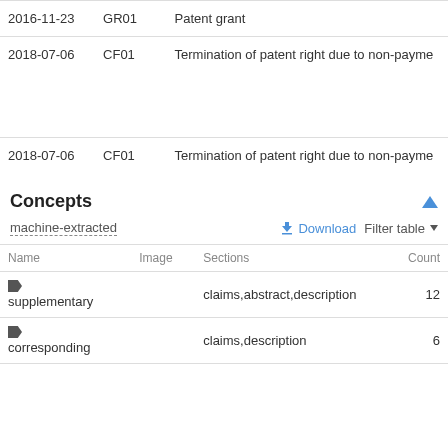| Date | Code | Description |
| --- | --- | --- |
| 2016-11-23 | GR01 | Patent grant |
| 2018-07-06 | CF01 | Termination of patent right due to non-payme |
| 2018-07-06 | CF01 | Termination of patent right due to non-payme |
Concepts
machine-extracted
| Name | Image | Sections | Count |
| --- | --- | --- | --- |
| supplementary |  | claims,abstract,description | 12 |
| corresponding |  | claims,description | 6 |